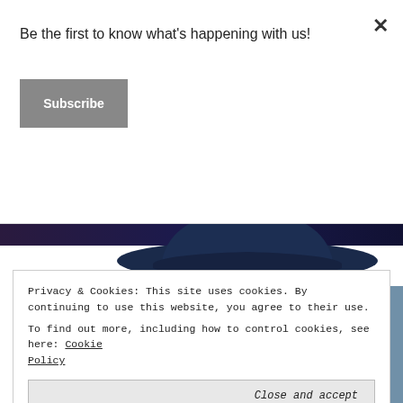Be the first to know what's happening with us!
Subscribe
[Figure (screenshot): Dark banner with partially visible image and text overlay reading 'iPhone owners are obsessed with this Marvel game']
iPhone owners are obsessed with this Marvel game
[Figure (photo): Person wearing a dark navy cowboy hat, partially visible]
Privacy & Cookies: This site uses cookies. By continuing to use this website, you agree to their use.
To find out more, including how to control cookies, see here: Cookie Policy
Close and accept